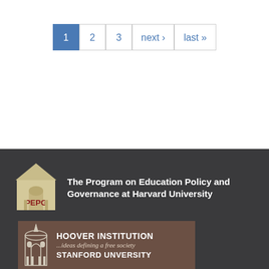Pagination: 1 2 3 next › last »
[Figure (logo): PEPG (Program on Education Policy and Governance) logo with house icon and text: The Program on Education Policy and Governance at Harvard University]
Paul E. Peterson, Director
79 John F. Kennedy Street, Taubman 306
Cambridge, MA 02138
Phone: +1 617-495-8312
Fax: +1 617-496-4428
www.hks.harvard.edu/pepg
[Figure (logo): Hoover Institution logo with text: HOOVER INSTITUTION ...ideas defining a free society STANFORD UNVERSITY]